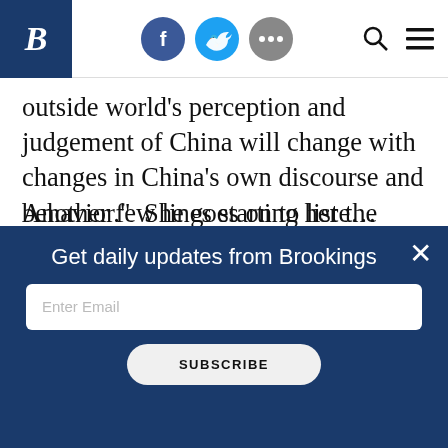Brookings Institution header with logo, social icons (Facebook, Twitter, More), search and menu
outside world’s perception and judgement of China will change with changes in China’s own discourse and behavior.”  She goes on to list the qualities of persuasive discourse, including that “successful efforts should be based on facts and deeds, as vague concepts and pronouncements are not convincing.”
Another few lines starting here (partially visible, obscured by overlay)
Get daily updates from Brookings
Enter Email
SUBSCRIBE